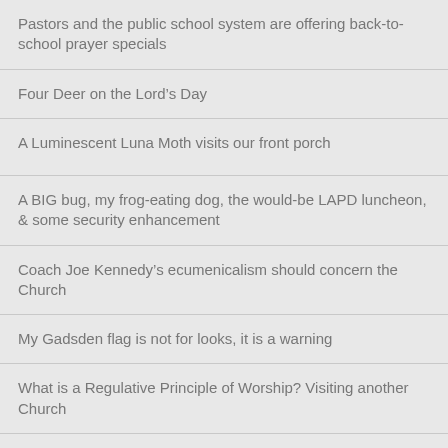Pastors and the public school system are offering back-to-school prayer specials
Four Deer on the Lord's Day
A Luminescent Luna Moth visits our front porch
A BIG bug, my frog-eating dog, the would-be LAPD luncheon, & some security enhancement
Coach Joe Kennedy's ecumenicalism should concern the Church
My Gadsden flag is not for looks, it is a warning
What is a Regulative Principle of Worship? Visiting another Church
Tag Cloud